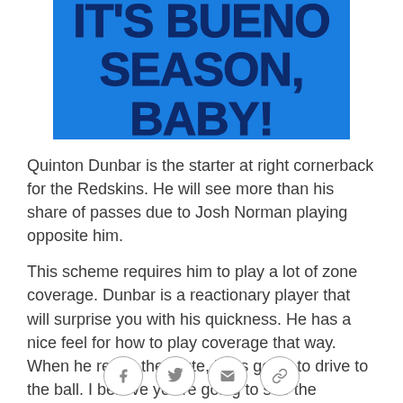[Figure (illustration): Blue banner image with bold dark navy text reading 'IT'S BUENO SEASON, BABY!' on a bright blue background]
Quinton Dunbar is the starter at right cornerback for the Redskins. He will see more than his share of passes due to Josh Norman playing opposite him.
This scheme requires him to play a lot of zone coverage. Dunbar is a reactionary player that will surprise you with his quickness. He has a nice feel for how to play coverage that way. When he reads the route, he is going to drive to the ball. I believe you're going to see the Cowboys try and double-move him on the outside. Dunbar fights hard not to let receivers
[Figure (infographic): Social sharing icons: Facebook, Twitter, email, and link icons in circles at the bottom of the page]